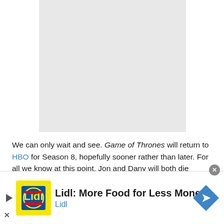[Figure (photo): Gray placeholder image box representing a photo or video thumbnail]
We can only wait and see. Game of Thrones will return to HBO for Season 8, hopefully sooner rather than later. For all we know at this point, Jon and Dany will both die moments after winning the Iron Throne,
[Figure (other): Lidl advertisement banner: 'Lidl: More Food for Less Money' with Lidl logo and navigation arrow icon]